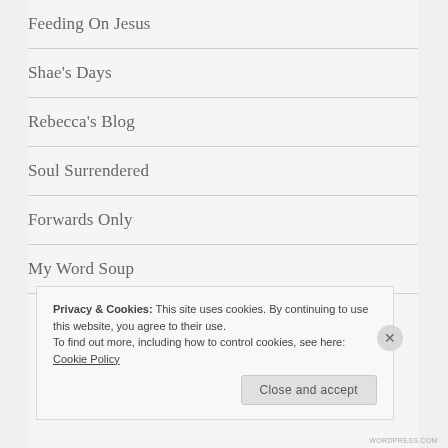Feeding On Jesus
Shae's Days
Rebecca's Blog
Soul Surrendered
Forwards Only
My Word Soup
Privacy & Cookies: This site uses cookies. By continuing to use this website, you agree to their use. To find out more, including how to control cookies, see here: Cookie Policy
WORDPRESS.COM